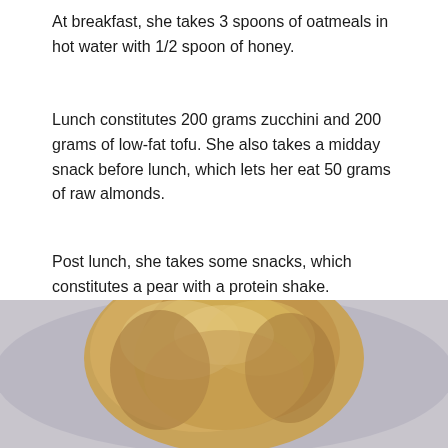At breakfast, she takes 3 spoons of oatmeals in hot water with 1/2 spoon of honey.
Lunch constitutes 200 grams zucchini and 200 grams of low-fat tofu. She also takes a midday snack before lunch, which lets her eat 50 grams of raw almonds.
Post lunch, she takes some snacks, which constitutes a pear with a protein shake.
The day ends with a simple dinner of 300 grams of navy beans coupled with garlic and salt, seasoned with lemon juice or vinegar.
[Figure (photo): Close-up photo of a woman with blonde hair tied up in a bun, blurred background.]